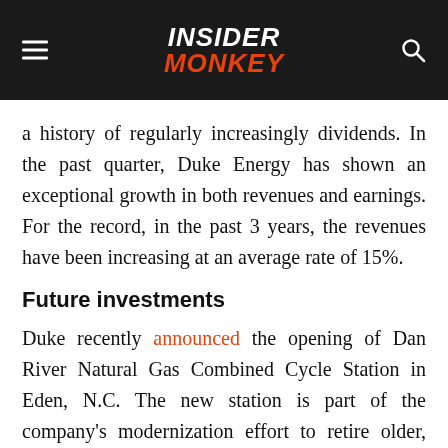INSIDER MONKEY
a history of regularly increasingly dividends. In the past quarter, Duke Energy has shown an exceptional growth in both revenues and earnings. For the record, in the past 3 years, the revenues have been increasing at an average rate of 15%.
Future investments
Duke recently announced the opening of Dan River Natural Gas Combined Cycle Station in Eden, N.C. The new station is part of the company's modernization effort to retire older, less-efficient coal plants and replace them with cleaner-burning natural